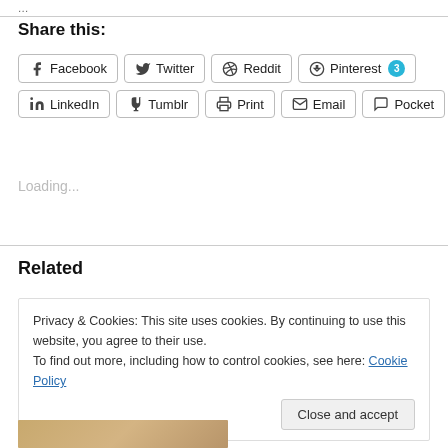...
Share this:
Facebook
Twitter
Reddit
Pinterest 3
LinkedIn
Tumblr
Print
Email
Pocket
Loading...
Related
Privacy & Cookies: This site uses cookies. By continuing to use this website, you agree to their use.
To find out more, including how to control cookies, see here: Cookie Policy
Close and accept
[Figure (photo): Food photo strip at bottom of page]